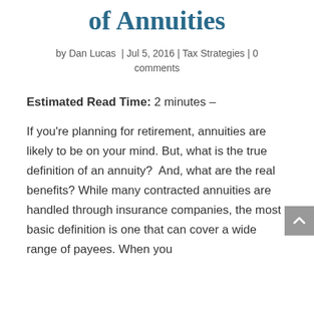of Annuities
by Dan Lucas | Jul 5, 2016 | Tax Strategies | 0 comments
Estimated Read Time: 2 minutes –
If you're planning for retirement, annuities are likely to be on your mind. But, what is the true definition of an annuity?  And, what are the real benefits? While many contracted annuities are handled through insurance companies, the most basic definition is one that can cover a wide range of payees. When you